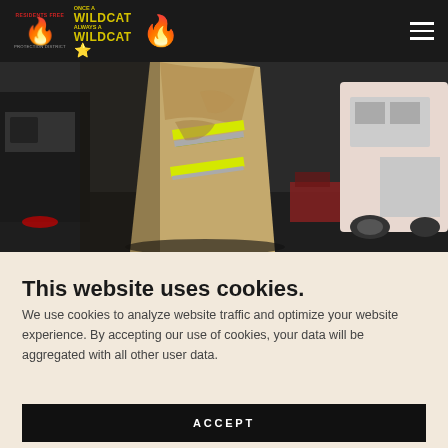Residents Free Protection District | Once a Wildcat Always a Wildcat
[Figure (photo): Firefighter in tan turnout gear with hi-vis yellow stripes over shoulder, fire truck visible in background]
This website uses cookies.
We use cookies to analyze website traffic and optimize your website experience. By accepting our use of cookies, your data will be aggregated with all other user data.
ACCEPT